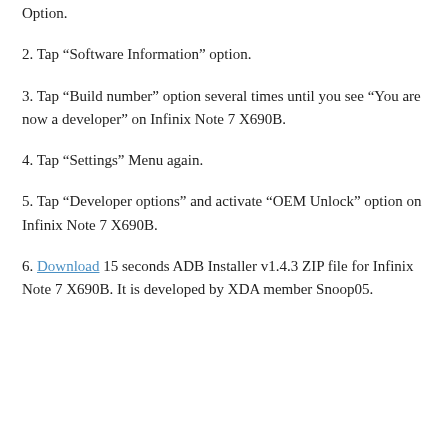Option.
2. Tap “Software Information” option.
3. Tap “Build number” option several times until you see “You are now a developer” on Infinix Note 7 X690B.
4. Tap “Settings” Menu again.
5. Tap “Developer options” and activate “OEM Unlock” option on Infinix Note 7 X690B.
6. Download 15 seconds ADB Installer v1.4.3 ZIP file for Infinix Note 7 X690B. It is developed by XDA member Snoop05.